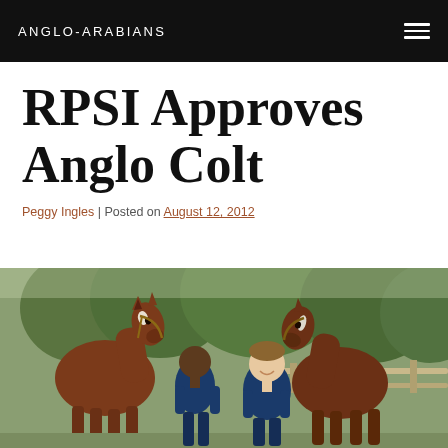ANGLO-ARABIANS
RPSI Approves Anglo Colt
Peggy Ingles | Posted on August 12, 2012
[Figure (photo): Two people standing between two brown horses outdoors near a wooden fence with green trees in the background]